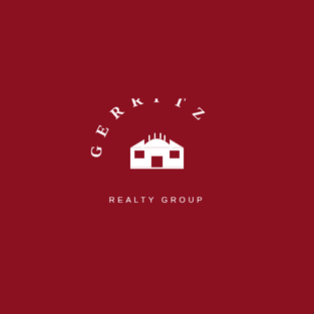[Figure (logo): Gerritz Realty Group logo: white text arranged in an arc spelling GERRITZ above a white illustrated house/building icon, with REALTY GROUP in spaced capital letters below, all on a dark red background]